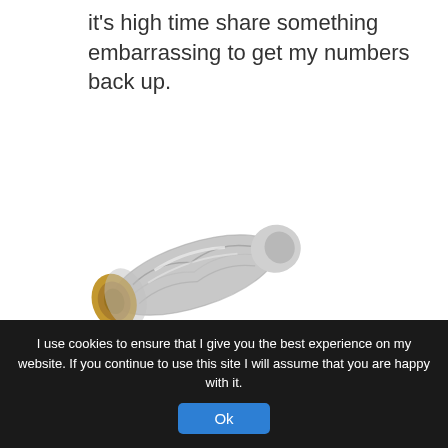it's high time share something embarrassing to get my numbers back up.
[Figure (photo): A foil-wrapped Chipotle burrito on a white background]
While I was pregnant, I practically lived on Chipotle burritos.  One day, in my first trimester, I had a barbacoa burrito for a late lunch; marinated, delicious beef and lots of
I use cookies to ensure that I give you the best experience on my website. If you continue to use this site I will assume that you are happy with it.